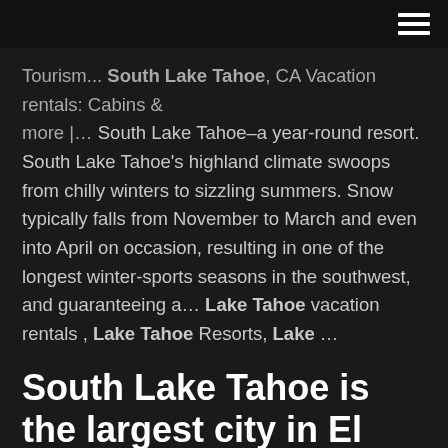Tourism... South Lake Tahoe, CA Vacation rentals: Cabins & more |… South Lake Tahoe–a year-round resort. South Lake Tahoe's highland climate swoops from chilly winters to sizzling summers. Snow typically falls from November to March and even into April on occasion, resulting in one of the longest winter-sports seasons in the southwest, and guaranteeing a... Lake Tahoe vacation rentals , Lake Tahoe Resorts, Lake ...
South Lake Tahoe is the largest city in El Dorado County, California. It's also a stone's throw from Nevada and attracts thousands of tourists each year